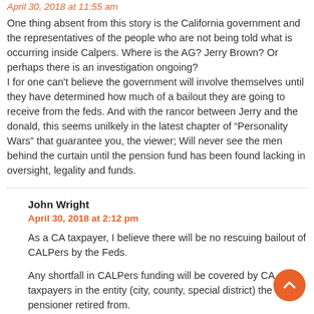April 30, 2018 at 11:55 am (partial, top of page)
One thing absent from this story is the California government and the representatives of the people who are not being told what is occurring inside Calpers. Where is the AG? Jerry Brown? Or perhaps there is an investigation ongoing?
I for one can't believe the government will involve themselves until they have determined how much of a bailout they are going to receive from the feds. And with the rancor between Jerry and the donald, this seems unilkely in the latest chapter of “Personality Wars” that guarantee you, the viewer; Will never see the men behind the curtain until the pension fund has been found lacking in oversight, legality and funds.
John Wright
April 30, 2018 at 2:12 pm
As a CA taxpayer, I believe there will be no rescuing bailout of CALPers by the Feds.
Any shortfall in CALPers funding will be covered by CA taxpayers in the entity (city, county, special district) the pensioner retired from.
I suspect the CA politicians are well aware of potential CALPers funding problems, just like the politicians in Illinois and New Jersey are aware of their, even more dire